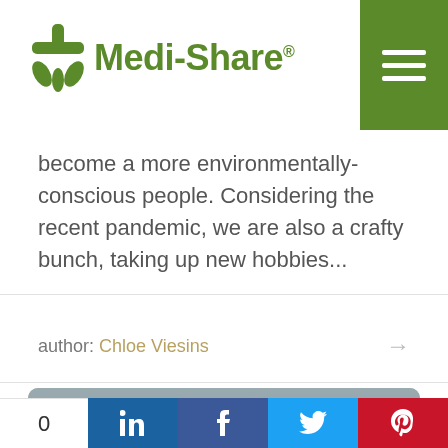[Figure (logo): Medi-Share logo with green cross/snowflake icon and green text]
become a more environmentally-conscious people. Considering the recent pandemic, we are also a crafty bunch, taking up new hobbies...
author: Chloe Viesins
[Figure (photo): Card with grey background, a small green plant seedling, and two green pill-shaped badges reading 'Christian Resources' and 'Financial']
0  in  f  (Twitter bird)  p